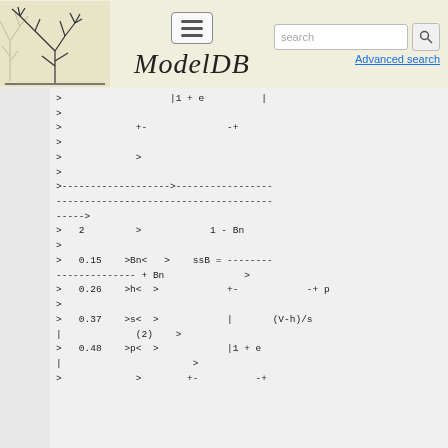ModelDB - Advanced search
>                   |1 + e          |
>
>             +-              -+
>
>             >
>
>------------------->-----------------
--------------------------------------
----->
>   2         >            1 - Bn
>
>   0.15    >Bn<   >    ssB = --------
-------------- + Bn              >
>   0.26    >h<  >            +-            -+ p
>
>   0.37    >s<  >            |       (V-h)/s
|             (2)    >
>   0.48    >p<  >            |1 + e
|                       >
>             >        +-          -+